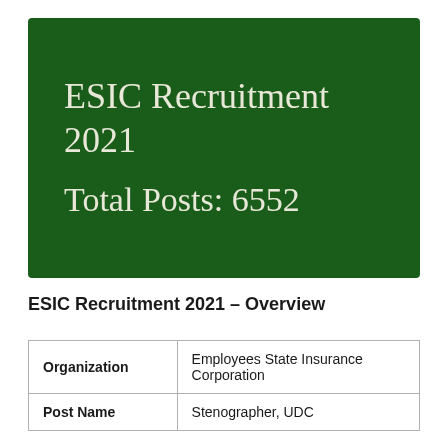ESIC Recruitment 2021
Total Posts: 6552
ESIC Recruitment 2021 – Overview
| Organization | Employees State Insurance Corporation |
| Post Name | Stenographer, UDC |